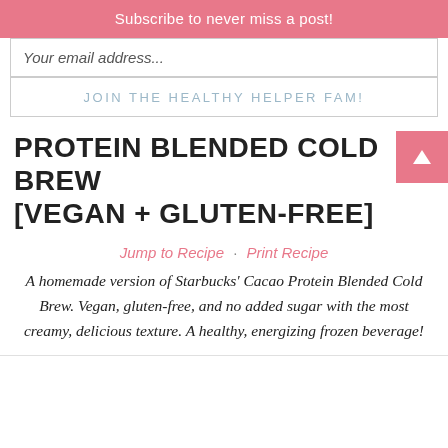Subscribe to never miss a post!
Your email address...
JOIN THE HEALTHY HELPER FAM!
PROTEIN BLENDED COLD BREW [VEGAN + GLUTEN-FREE]
Jump to Recipe · Print Recipe
A homemade version of Starbucks' Cacao Protein Blended Cold Brew. Vegan, gluten-free, and no added sugar with the most creamy, delicious texture. A healthy, energizing frozen beverage!